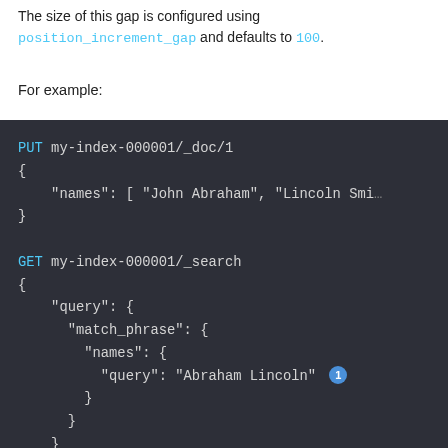The size of this gap is configured using position_increment_gap and defaults to 100.
For example:
[Figure (screenshot): Dark-background code block showing a PUT request indexing a document with a 'names' array containing 'John Abraham' and 'Lincoln Smi...', followed by a GET search request using match_phrase query on 'names' field with query value 'Abraham Lincoln' annotated with badge number 1.]